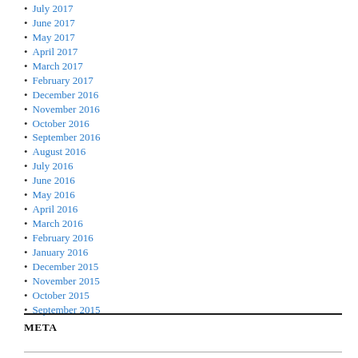July 2017
June 2017
May 2017
April 2017
March 2017
February 2017
December 2016
November 2016
October 2016
September 2016
August 2016
July 2016
June 2016
May 2016
April 2016
March 2016
February 2016
January 2016
December 2015
November 2015
October 2015
September 2015
META